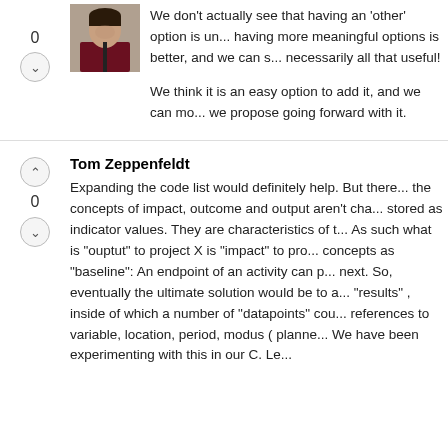We don't actually see that having an 'other' option is un... having more meaningful options is better, and we can s... necessarily all that useful!
We think it is an easy option to add it, and we can mo... we propose going forward with it.
Tom Zeppenfeldt
Expanding the code list would definitely help. But there... the concepts of impact, outcome and output aren't cha... stored as indicator values. They are characteristics of t... As such what is "ouptut" to project X is "impact" to pro... concepts as "baseline": An endpoint of an activity can p... next. So, eventually the ultimate solution would be to a... "results" , inside of which a number of "datapoints" cou... references to variable, location, period, modus ( planne... We have been experimenting with this in our C. Le...